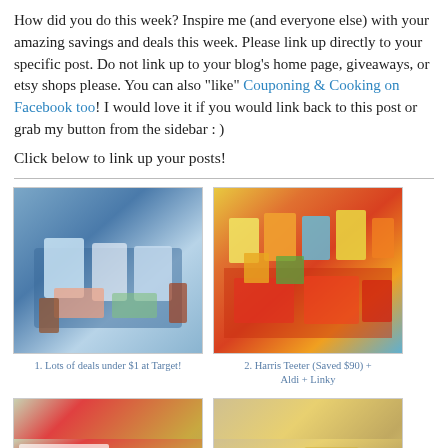How did you do this week? Inspire me (and everyone else) with your amazing savings and deals this week. Please link up directly to your specific post. Do not link up to your blog's home page, giveaways, or etsy shops please. You can also "like" Couponing & Cooking on Facebook too! I would love it if you would link back to this post or grab my button from the sidebar : )
Click below to link up your posts!
[Figure (photo): Grocery haul photo showing various packaged food items and beverages arranged on a surface, with blue background]
1. Lots of deals under $1 at Target!
[Figure (photo): Grocery haul photo showing colorful packaged food items, snacks, cereals, and canned goods arranged on a surface]
2. Harris Teeter (Saved $90) + Aldi + Linky
[Figure (photo): Kroger grocery haul photo dated 6/19 showing packaged items]
[Figure (photo): Grocery haul photo showing baked goods and food items]